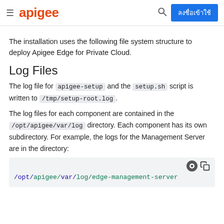apigee | ลงชื่อเข้าใช้
The installation uses the following file system structure to deploy Apigee Edge for Private Cloud.
Log Files
The log file for apigee-setup and the setup.sh script is written to /tmp/setup-root.log.
The log files for each component are contained in the /opt/apigee/var/log directory. Each component has its own subdirectory. For example, the logs for the Management Server are in the directory:
/opt/apigee/var/log/edge-management-server